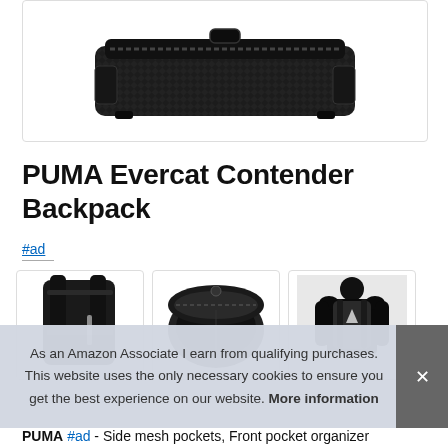[Figure (photo): Top-down view of a black PUMA Evercat Contender Backpack product image against white background]
PUMA Evercat Contender Backpack
#ad
[Figure (photo): Side/front view of black PUMA backpack showing straps]
[Figure (photo): Top-down open view of black PUMA backpack showing interior compartment]
[Figure (photo): Person wearing black PUMA backpack, rear view with PUMA logo visible]
As an Amazon Associate I earn from qualifying purchases. This website uses the only necessary cookies to ensure you get the best experience on our website. More information
PUMA #ad - Side mesh pockets, Front pocket organizer